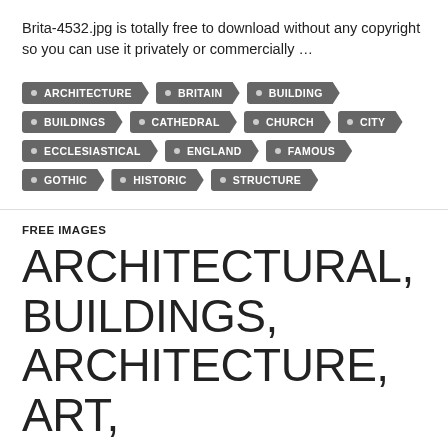Brita-4532.jpg is totally free to download without any copyright so you can use it privately or commercially ...
ARCHITECTURE
BRITAIN
BUILDING
BUILDINGS
CATHEDRAL
CHURCH
CITY
ECCLESIASTICAL
ENGLAND
FAMOUS
GOTHIC
HISTORIC
STRUCTURE
FREE IMAGES
ARCHITECTURAL, BUILDINGS, ARCHITECTURE, ART, PAINTING, ARCHITECTURE, HISTORIC, ARTISTIC,